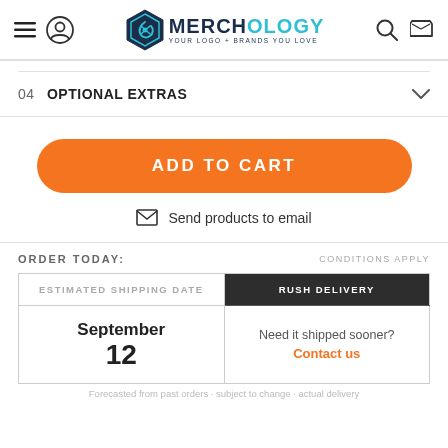Merchology — YOUR LOGO + BRANDS YOU LOVE
04  OPTIONAL EXTRAS
ADD TO CART
Send products to email
ORDER TODAY:
CONDITIONS APPLY
| ESTIMATED SHIPPING DATE | RUSH DELIVERY |
| --- | --- |
| September
12 | Need it shipped sooner?
Contact us |